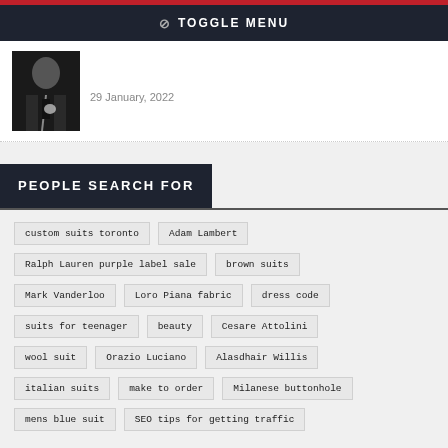TOGGLE MENU
[Figure (photo): Man in dark suit with tie and pocket square]
29 January, 2022
PEOPLE SEARCH FOR
custom suits toronto
Adam Lambert
Ralph Lauren purple label sale
brown suits
Mark Vanderloo
Loro Piana fabric
dress code
suits for teenager
beauty
Cesare Attolini
wool suit
Orazio Luciano
Alasdhair Willis
italian suits
make to order
Milanese buttonhole
mens blue suit
SEO tips for getting traffic